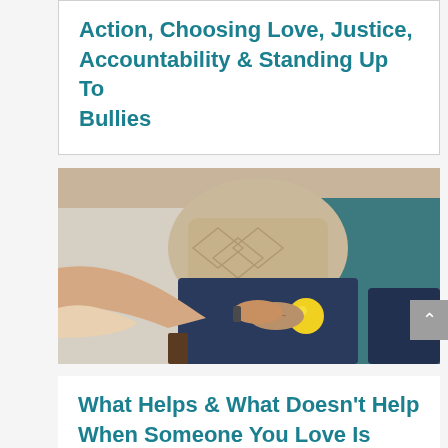Action, Choosing Love, Justice, Accountability & Standing Up To Bullies
[Figure (photo): A caregiver's hands gently holding the wrist of an elderly person who is holding a yellow stress ball. Multiple people are seated in the background, one wearing a beige knit sweater and another in teal.]
What Helps & What Doesn't Help When Someone You Love Is Sick, Suffering, Grieving, or...